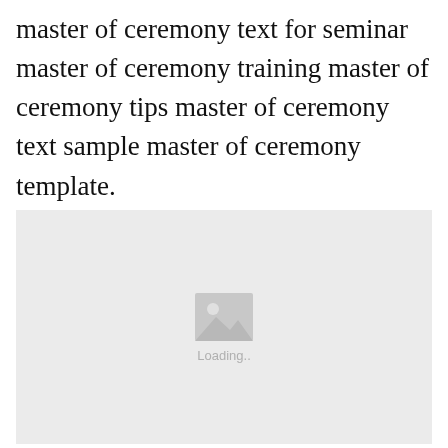master of ceremony text for seminar master of ceremony training master of ceremony tips master of ceremony text sample master of ceremony template.
[Figure (photo): Image placeholder with loading icon and 'Loading..' text on a light grey background]